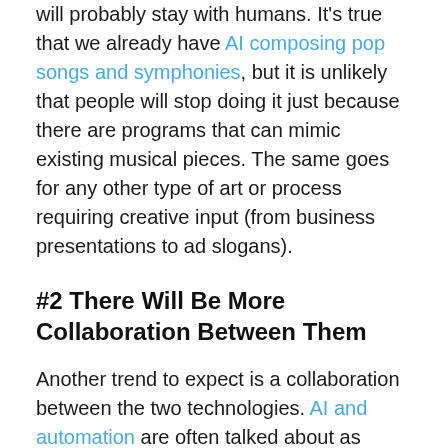will probably stay with humans. It's true that we already have AI composing pop songs and symphonies, but it is unlikely that people will stop doing it just because there are programs that can mimic existing musical pieces. The same goes for any other type of art or process requiring creative input (from business presentations to ad slogans).
#2 There Will Be More Collaboration Between Them
Another trend to expect is a collaboration between the two technologies. AI and automation are often talked about as something whole, but when it comes to details, it seems that they are discussed and applied more often separately than together. However, this can